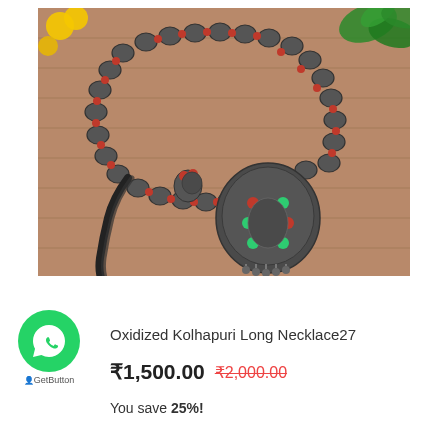[Figure (photo): Oxidized silver Kolhapuri long necklace with matching earrings displayed on a wooden surface with green plant and yellow flowers in background. Necklace features intricate metalwork beads, a large peacock pendant with red and green stones, black braided cord with tassel.]
[Figure (logo): WhatsApp green circular button with phone handset icon, labeled 'GetButton' beneath]
Oxidized Kolhapuri Long Necklace27
₹1,500.00  ₹2,000.00
You save 25%!